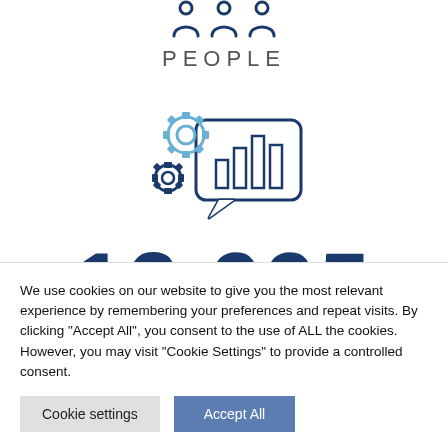[Figure (illustration): Three dark blue person/people icons at the top center]
PEOPLE
[Figure (illustration): Icon of two gears (light blue and dark blue) with a bar chart inside a speech bubble (dark blue outline)]
13 995
We use cookies on our website to give you the most relevant experience by remembering your preferences and repeat visits. By clicking "Accept All", you consent to the use of ALL the cookies. However, you may visit "Cookie Settings" to provide a controlled consent.